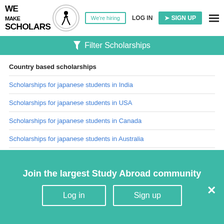WE MAKE SCHOLARS — We're hiring | LOG IN | SIGN UP
Filter Scholarships
Country based scholarships
Scholarships for japanese students in India
Scholarships for japanese students in USA
Scholarships for japanese students in Canada
Scholarships for japanese students in Australia
Scholarships for japanese students in UK
Join the largest Study Abroad community
Log in   Sign up